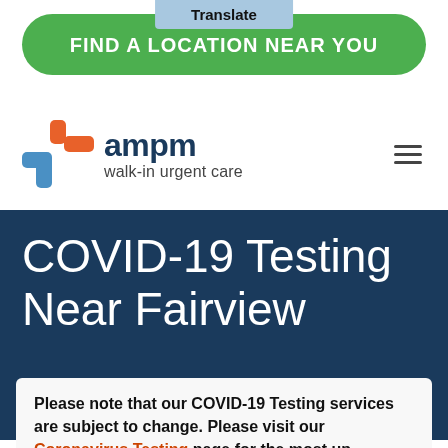Translate
FIND A LOCATION NEAR YOU
[Figure (logo): ampm walk-in urgent care logo with orange and blue cross symbol]
COVID-19 Testing Near Fairview
Please note that our COVID-19 Testing services are subject to change. Please visit our Coronavirus Testing page for the most up